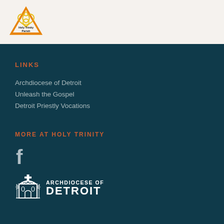[Figure (logo): Holy Trinity Parish triquetra/trinity knot logo in yellow/orange with text 'Holy Trinity Parish']
LINKS
Archdiocese of Detroit
Unleash the Gospel
Detroit Priestly Vocations
MORE AT HOLY TRINITY
[Figure (logo): Facebook 'f' icon in white]
[Figure (logo): Archdiocese of Detroit logo with church building icon and text 'ARCHDIOCESE OF DETROIT']